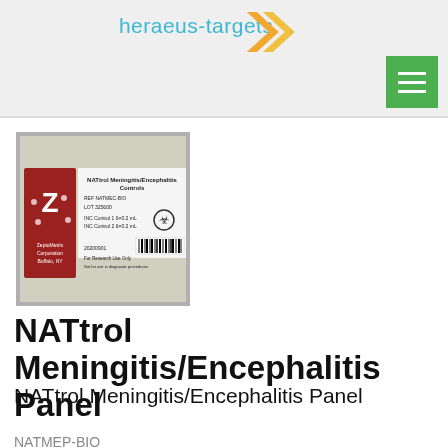[Figure (logo): heraeus-targets logo with teal text and orange/gold chevron arrow graphic]
[Figure (photo): Photo of NATtrol Meningitis/Encephalitis Controls product box with Z ZeptoMetrix logo, REF NATMEC-BIO label, LOT number, biohazard symbol, and barcode]
NATtrol Meningitis/Encephalitis Panel
NATtrol Meningitis/Encephalitis Panel
NATMEP-BIO